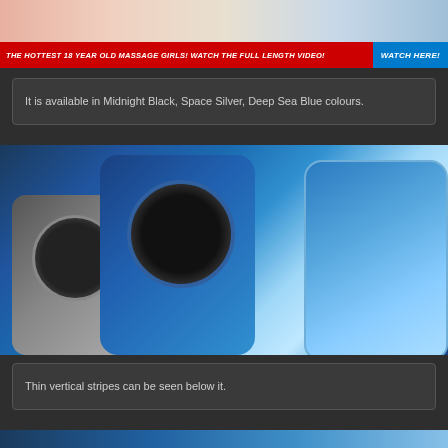[Figure (photo): Partial top of page showing cropped photo of people, appears to be an advertisement image]
THE HOTTEST 18 YEAR OLD MASSAGE GIRLS! WATCH THE FULL LENGTH VIDEO! WATCH HERE!
It is available in Midnight Black, Space Silver, Deep Sea Blue colours.
[Figure (photo): Smartphone product photo showing three Honor/Huawei phones - a gray back, a blue textured back with circular quad camera module, and a blue front view showing the screen with curved design and punch-hole front camera]
Thin vertical stripes can be seen below it.
[Figure (photo): Bottom partial image of another smartphone, appears to show the bottom edge in blue color]